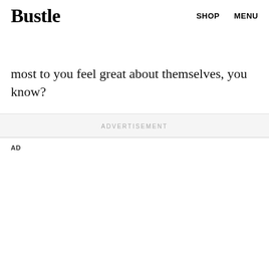Bustle   SHOP   MENU
ive of a kind word from a friend. And, what's more important than making the people who mean the most to you feel great about themselves, you know?
ADVERTISEMENT
AD